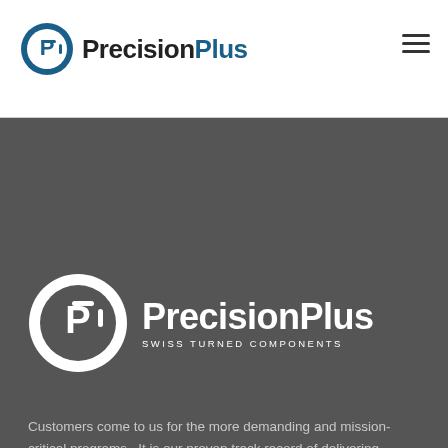[Figure (logo): PrecisionPlus logo with blue P-in-circle icon and bold black text 'PrecisionPlus' in header]
[Figure (logo): PrecisionPlus white logo with circle P icon and text 'PrecisionPlus SWISS TURNED COMPONENTS' on dark background]
Customers come to us for the more demanding and mission-critical programs.  It is our proven track record of delivering exceptional results that make us the preferred solution provider to many Fortune 500 companies.
Call us: (262) 743-1700